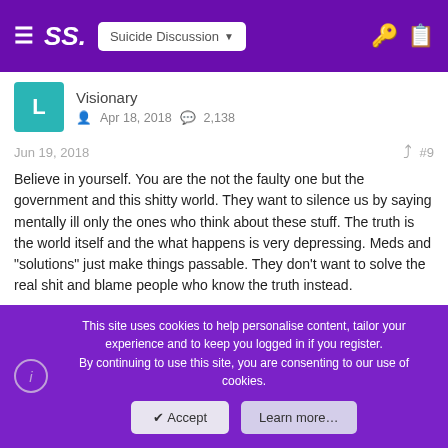SS. Suicide Discussion
Visionary
Apr 18, 2018  2,138
Jun 19, 2018  #9
Believe in yourself. You are the not the faulty one but the government and this shitty world. They want to silence us by saying mentally ill only the ones who think about these stuff. The truth is the world itself and the what happens is very depressing. Meds and "solutions" just make things passable. They don't want to solve the real shit and blame people who know the truth instead.
Red star, Regisphilbin_savant, Strumgewehr and 3 others
This site uses cookies to help personalise content, tailor your experience and to keep you logged in if you register.
By continuing to use this site, you are consenting to our use of cookies.